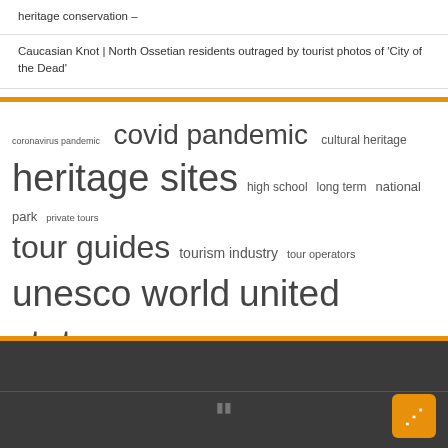heritage conservation –
Caucasian Knot | North Ossetian residents outraged by tourist photos of 'City of the Dead'
[Figure (infographic): Tag cloud with tourism and heritage related keywords in varying font sizes: coronavirus pandemic, covid pandemic, cultural heritage, heritage sites, high school, long term, national park, private tours, tour guides, tourism industry, tour operators, unesco world, united states, vice president, world heritage]